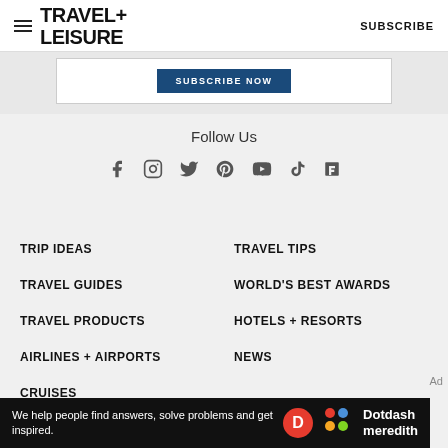TRAVEL+ LEISURE  SUBSCRIBE
[Figure (screenshot): Subscribe Now button in a white bordered box]
Follow Us
[Figure (infographic): Social media icons: Facebook, Instagram, Twitter, Pinterest, YouTube, TikTok, Flipboard]
TRIP IDEAS
TRAVEL TIPS
TRAVEL GUIDES
WORLD'S BEST AWARDS
TRAVEL PRODUCTS
HOTELS + RESORTS
AIRLINES + AIRPORTS
NEWS
CRUISES
Ad
[Figure (infographic): Dotdash Meredith ad banner: 'We help people find answers, solve problems and get inspired.' with Dotdash Meredith logo]